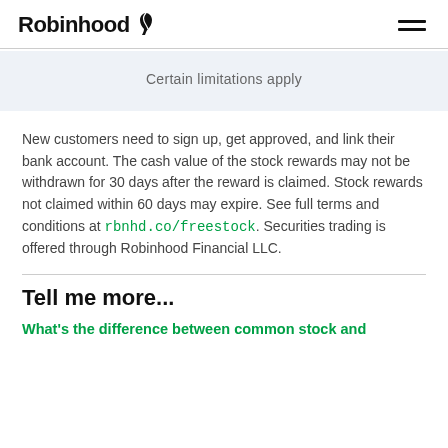Robinhood
Certain limitations apply
New customers need to sign up, get approved, and link their bank account. The cash value of the stock rewards may not be withdrawn for 30 days after the reward is claimed. Stock rewards not claimed within 60 days may expire. See full terms and conditions at rbnhd.co/freestock. Securities trading is offered through Robinhood Financial LLC.
Tell me more...
What's the difference between common stock and